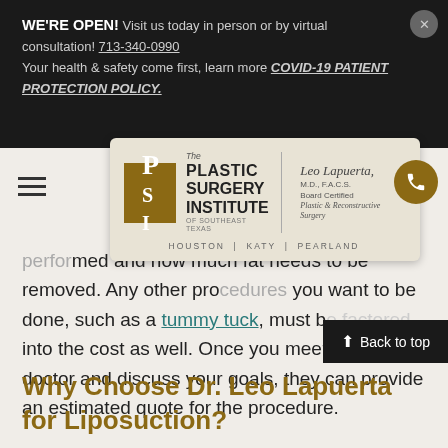WE'RE OPEN! Visit us today in person or by virtual consultation! 713-340-0990
Your health & safety come first, learn more COVID-19 PATIENT PROTECTION POLICY.
[Figure (logo): The Plastic Surgery Institute of Southeast Texas logo with Leo Lapuerta M.D., F.A.C.S. Board Certified Plastic & Reconstructive Surgery. HOUSTON | KATY | PEARLAND]
removed. Any other procedures you want to be done, such as a tummy tuck, must be factored into the cost as well. Once you meet with your doctor and discuss your goals, they can provide an estimated quote for the procedure.
Why Choose Dr. Leo Lapuerta for Liposuction?